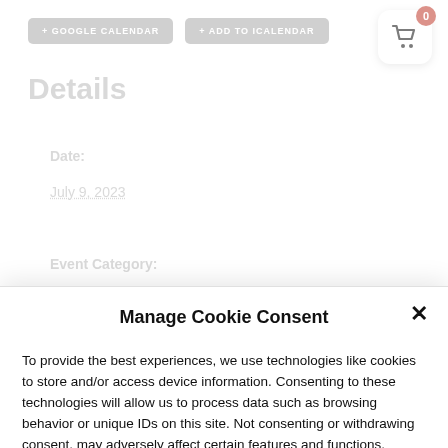[Figure (other): Two grey calendar buttons: '+ GOOGLE CALENDAR' and '+ ADD TO ICALENDAR', and a shopping cart icon with a red badge showing '0']
Details
Date:
July 9, 2023
Event Category:
07 July
Manage Cookie Consent
To provide the best experiences, we use technologies like cookies to store and/or access device information. Consenting to these technologies will allow us to process data such as browsing behavior or unique IDs on this site. Not consenting or withdrawing consent, may adversely affect certain features and functions.
ACCEPT